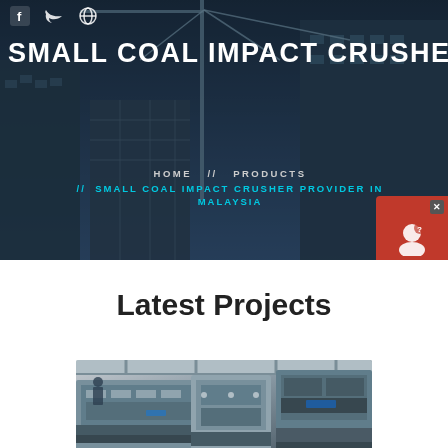SMALL COAL IMPACT CRUSHER
HOME // PRODUCTS // SMALL COAL IMPACT CRUSHER PROVIDER IN MALAYSIA
Latest Projects
[Figure (photo): Industrial crushing/screening machinery in a warehouse or factory setting, showing large mechanical equipment with steel frameworks]